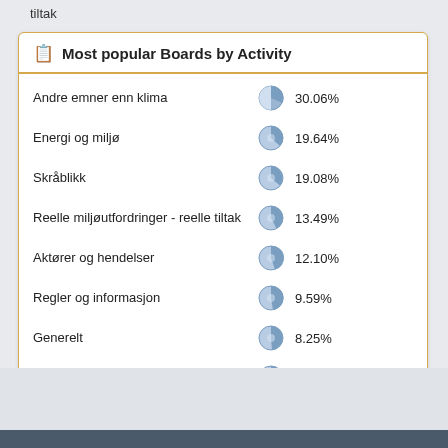tiltak
[Figure (other): A widget showing a list of boards with pie chart icons and percentage activity values. Categories and values: Andre emner enn klima 30.06%, Energi og miljø 19.64%, Skråblikk 19.08%, Reelle miljøutfordringer - reelle tiltak 13.49%, Aktører og hendelser 12.10%, Regler og informasjon 9.59%, Generelt 8.25%, Media og politikk 7.83%, Modeller eller observasjoner 5.94%, Ny forskning 4.17%]